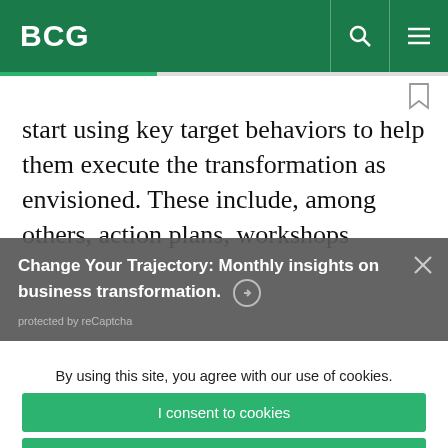BCG
start using key target behaviors to help them execute the transformation as envisioned. These include, among others, action plans, workshops
Change Your Trajectory: Monthly insights on business transformation. ➔
protected by reCaptcha
By using this site, you agree with our use of cookies.
I consent to cookies
Want to know more?
Read our Cookie Policy